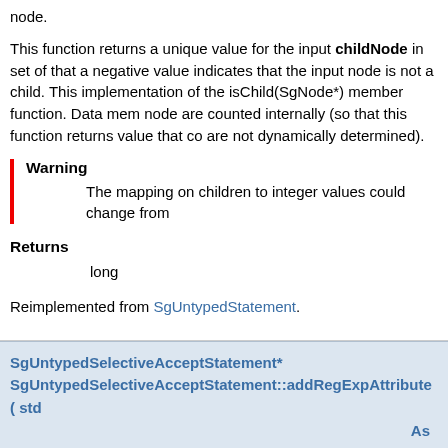node.
This function returns a unique value for the input childNode in set of that a negative value indicates that the input node is not a child. This implementation of the isChild(SgNode*) member function. Data mem node are counted internally (so that this function returns value that co are not dynamically determined).
Warning
The mapping on children to integer values could change from
Returns
long
Reimplemented from SgUntypedStatement.
SgUntypedSelectiveAcceptStatement* SgUntypedSelectiveAcceptStatement::addRegExpAttribute ( std As )